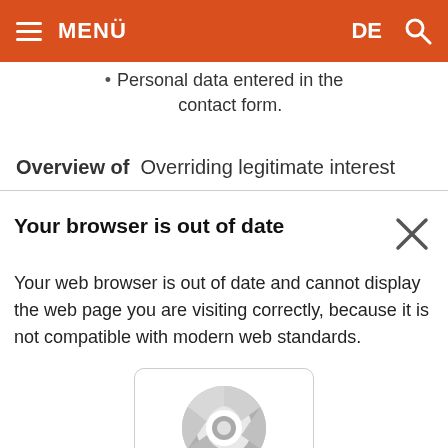MENÜ | DE 🔍
Personal data entered in the contact form.
Overview of  Overriding legitimate interest
Your browser is out of date
Your web browser is out of date and cannot display the web page you are visiting correctly, because it is not compatible with modern web standards.
[Figure (logo): Google Chrome browser logo icon with the Chrome icon in grey tones, with text 'Google Chrome' below]